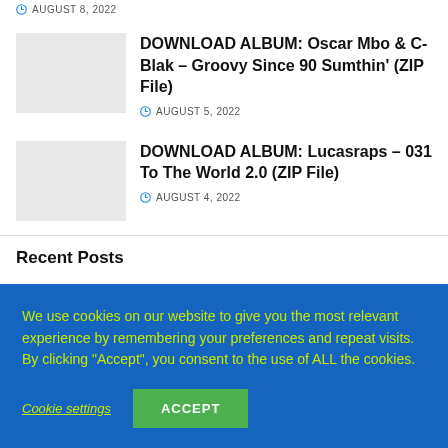AUGUST 8, 2022
[Figure (photo): Thumbnail image placeholder for Oscar Mbo & C-Blak album]
DOWNLOAD ALBUM: Oscar Mbo & C-Blak – Groovy Since 90 Sumthin' (ZIP File)
AUGUST 5, 2022
[Figure (photo): Thumbnail image placeholder for Lucasraps album]
DOWNLOAD ALBUM: Lucasraps – 031 To The World 2.0 (ZIP File)
AUGUST 4, 2022
Recent Posts
We use cookies on our website to give you the most relevant experience by remembering your preferences and repeat visits. By clicking "Accept", you consent to the use of ALL the cookies.
Cookie settings
ACCEPT